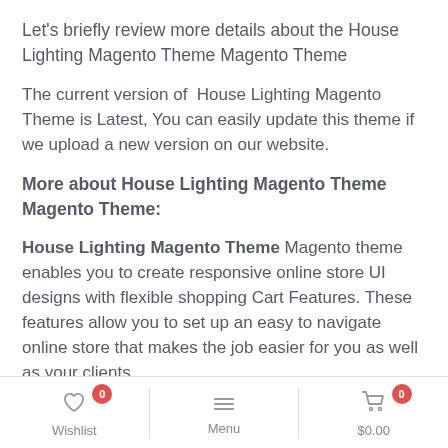Let's briefly review more details about the House Lighting Magento Theme Magento Theme
The current version of  House Lighting Magento Theme is Latest, You can easily update this theme if we upload a new version on our website.
More about House Lighting Magento Theme Magento Theme:
House Lighting Magento Theme Magento theme enables you to create responsive online store UI designs with flexible shopping Cart Features. These features allow you to set up an easy to navigate online store that makes the job easier for you as well as your clients.
The thing that sets House Lighting Magento
Wishlist 0   Menu   $0.00 0